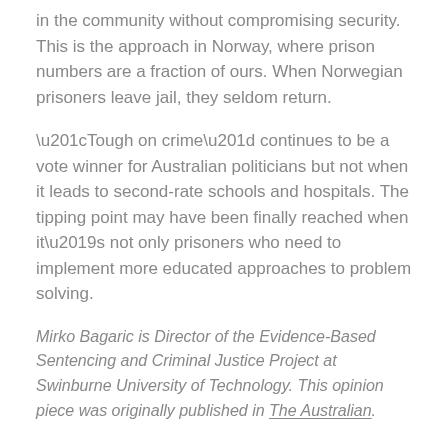in the community without compromising security. This is the approach in Norway, where prison numbers are a fraction of ours. When Norwegian prisoners leave jail, they seldom return.
“Tough on crime” continues to be a vote winner for Australian politicians but not when it leads to second-rate schools and hospitals. The tipping point may have been finally reached when it’s not only prisoners who need to implement more educated approaches to problem solving.
Mirko Bagaric is Director of the Evidence-Based Sentencing and Criminal Justice Project at Swinburne University of Technology. This opinion piece was originally published in The Australian.
Media enquiries
0455 502 999